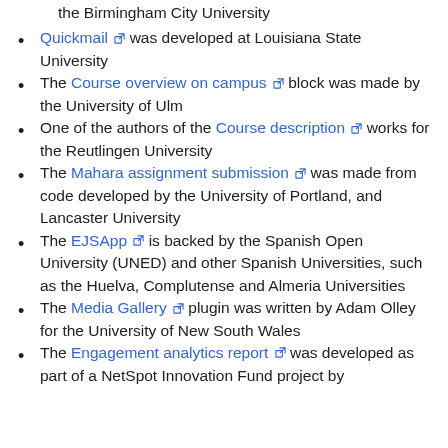the Birmingham City University
Quickmail [ext] was developed at Louisiana State University
The Course overview on campus [ext] block was made by the University of Ulm
One of the authors of the Course description [ext] works for the Reutlingen University
The Mahara assignment submission [ext] was made from code developed by the University of Portland, and Lancaster University
The EJSApp [ext] is backed by the Spanish Open University (UNED) and other Spanish Universities, such as the Huelva, Complutense and Almeria Universities
The Media Gallery [ext] plugin was written by Adam Olley for the University of New South Wales
The Engagement analytics report [ext] was developed as part of a NetSpot Innovation Fund project by